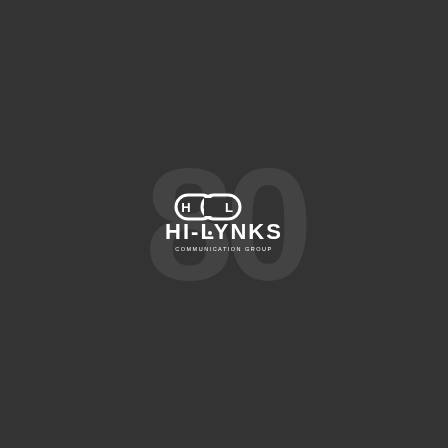[Figure (logo): Hi-Lynks Communication Group logo centered on dark background with large faded '80' text behind it. The logo shows chain-link icon with 'H' and 'L' letters, and the text 'HI-LYNKS' in bold white letters with 'COMMUNICATION GROUP' subtitle below.]